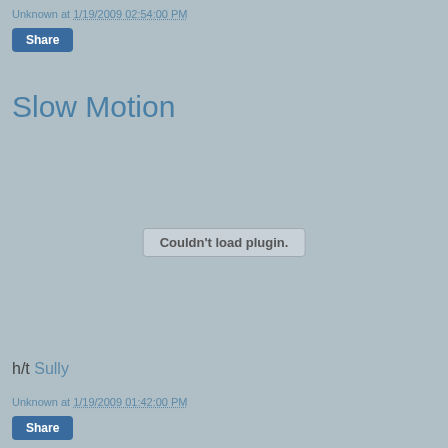Unknown at 1/19/2009 02:54:00 PM
Share
Slow Motion
Couldn't load plugin.
h/t Sully
Unknown at 1/19/2009 01:42:00 PM
Share